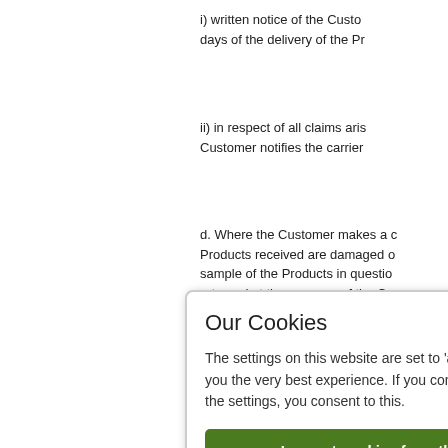i) written notice of the Customer's claim within 3 days of the delivery of the Pr...
ii) in respect of all claims aris... Customer notifies the carrier...
d. Where the Customer makes a claim that Products received are damaged or... sample of the Products in question... returned at the expense of the Cu... were received by the Customer. T... Co... ga... e... d c...
[Figure (screenshot): Cookie consent modal dialog with title 'Our Cookies', body text about allowing all cookies, a close button (x), green 'I accept cookies from this website' button, orange 'Change settings' button, and gray 'Find out more about cookies' button.]
e. Subject to these Conditions...